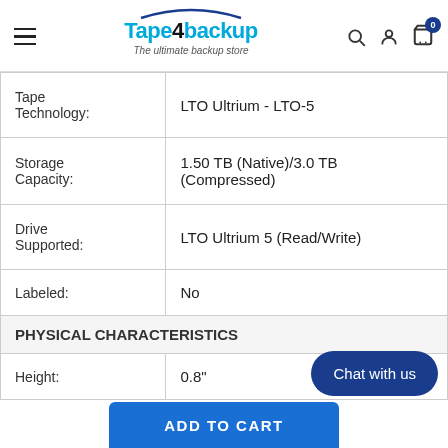Tape4backup — The ultimate backup store
| Property | Value |
| --- | --- |
| Tape Technology: | LTO Ultrium - LTO-5 |
| Storage Capacity: | 1.50 TB (Native)/3.0 TB (Compressed) |
| Drive Supported: | LTO Ultrium 5 (Read/Write) |
| Labeled: | No |
| PHYSICAL CHARACTERISTICS |  |
| Height: | 0.8" |